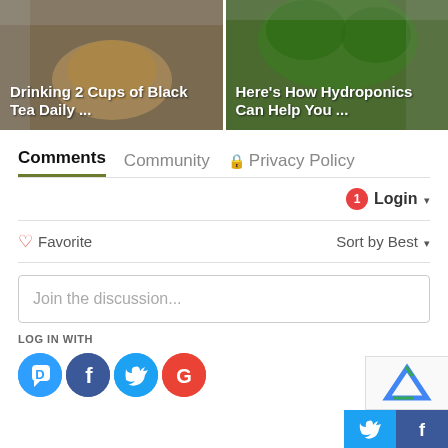[Figure (screenshot): Two article thumbnail cards side by side. Left card shows tea image with text 'Drinking 2 Cups of Black Tea Daily ...' Right card shows hydroponics/plants image with text 'Here's How Hydroponics Can Help You ...']
Comments   Community   🔒 Privacy Policy
🔔 1   Login ▾
♡ Favorite   Sort by Best ▾
Join the discussion...
LOG IN WITH
[Figure (illustration): Social login icons: Disqus (blue speech bubble with D), Facebook (dark blue circle with f), Twitter (light blue circle with bird), Google (red circle with G)]
[Figure (screenshot): Partial reCAPTCHA widget visible at bottom right]
[Figure (screenshot): Share buttons: Twitter (cyan) and Facebook (dark blue) at bottom right corner]